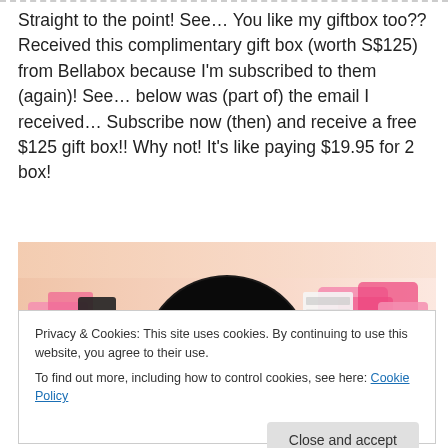Straight to the point! See… You like my giftbox too?? Received this complimentary gift box (worth S$125) from Bellabox because I'm subscribed to them (again)! See… below was (part of) the email I received… Subscribe now (then) and receive a free $125 gift box!! Why not! It's like paying $19.95 for 2 box!
[Figure (photo): Promotional image showing beauty products and a black circle badge reading 'LIMITED OFFER - Subscribe now and receive a FREE $125 GIFT BOX' with pink gift boxes and cosmetic items in the background]
Privacy & Cookies: This site uses cookies. By continuing to use this website, you agree to their use.
To find out more, including how to control cookies, see here: Cookie Policy